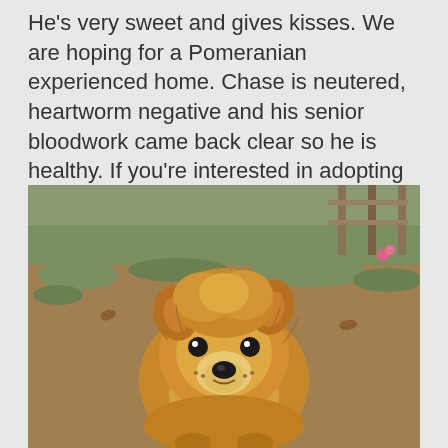He's very sweet and gives kisses. We are hoping for a Pomeranian experienced home. Chase is neutered, heartworm negative and his senior bloodwork came back clear so he is healthy. If you're interested in adopting Chase please complete an adoption form here.'
[Figure (photo): A fluffy golden-brown Pomeranian dog sitting outdoors on grass and dirt, looking directly at the camera, with a fence and greenery visible in the background.]